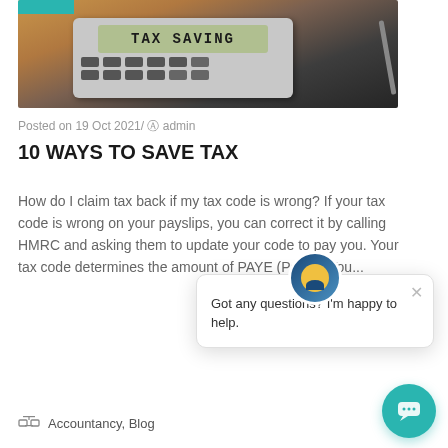[Figure (photo): Photo of a calculator displaying 'TAX SAVING' on its screen, with papers and a pen in the background. A teal/green bar is visible at the top left.]
Posted on 19 Oct 2021/  admin
10 WAYS TO SAVE TAX
How do I claim tax back if my tax code is wrong? If your tax code is wrong on your payslips, you can correct it by calling HMRC and asking them to update your code to pay you. Your tax code determines the amount of PAYE (Pay As You...
Accountancy, Blog